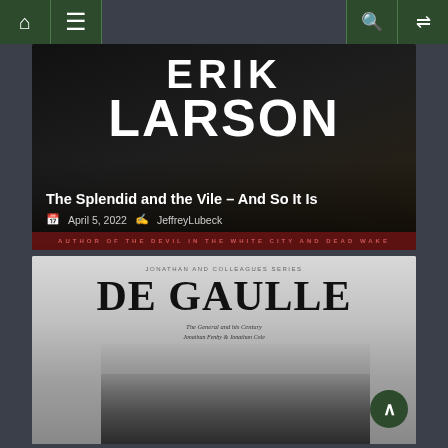Navigation bar with home, menu, search, shuffle icons
[Figure (photo): Book cover image for Erik Larson book showing author name 'ERIK LARSON' in large white text on dark background]
The Splendid and the Vile – And So It Is
April 5, 2022  JeffreyLubeck
[Figure (photo): Book cover image for 'DE GAULLE' biography showing large bold title text and black and white crowd/march photograph below]